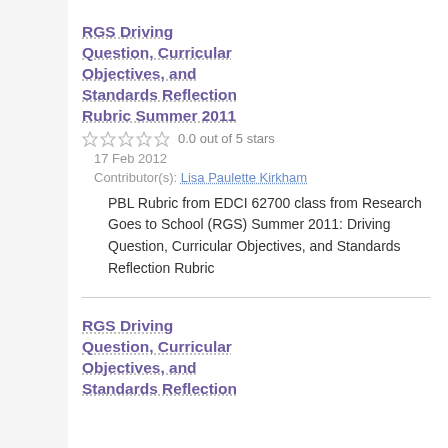RGS Driving Question, Curricular Objectives, and Standards Reflection Rubric Summer 2011
0.0 out of 5 stars
17 Feb 2012
Contributor(s): Lisa Paulette Kirkham
PBL Rubric from EDCI 62700 class from Research Goes to School (RGS) Summer 2011: Driving Question, Curricular Objectives, and Standards Reflection Rubric
RGS Driving Question, Curricular Objectives, and Standards Reflection